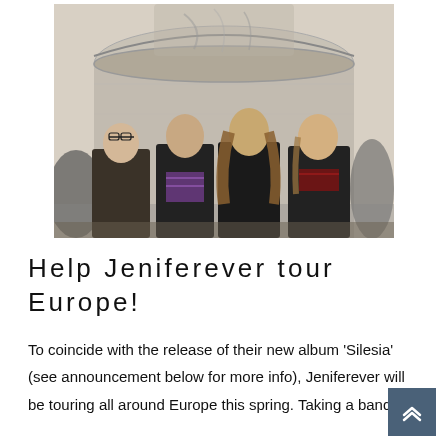[Figure (photo): Black and white photo of four band members (Jeniferever) standing in front of a large cylindrical concrete silo structure. The members are dressed in dark jackets. The sky is pale/overcast.]
Help Jeniferever tour Europe!
To coincide with the release of their new album 'Silesia' (see announcement below for more info), Jeniferever will be touring all around Europe this spring. Taking a band